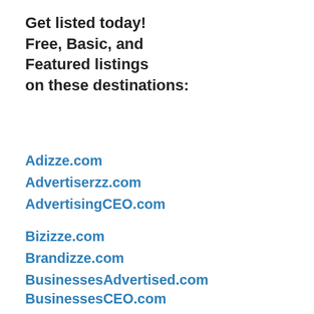Get listed today!
Free, Basic, and
Featured listings
on these destinations:
Adizze.com
Advertiserzz.com
AdvertisingCEO.com
Bizizze.com
Brandizze.com
BusinessesAdvertised.com
BusinessesCEO.com
BusinessesFeatured.com
BusinessesHQ.com
BusinessesListed.com
BusinessesPosted.com
BusinessesPromoted.com